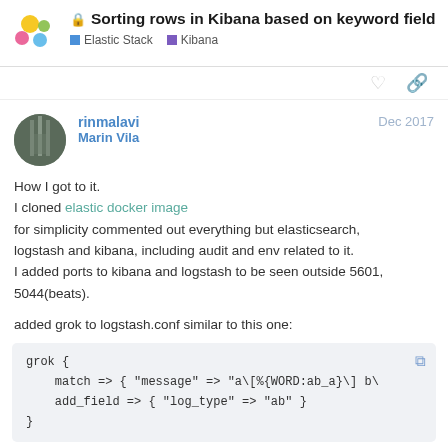🔒 Sorting rows in Kibana based on keyword field | Elastic Stack | Kibana
rinmalavi
Marin Vila
Dec 2017
How I got to it.
I cloned elastic docker image
for simplicity commented out everything but elasticsearch, logstash and kibana, including audit and env related to it.
I added ports to kibana and logstash to be seen outside 5601, 5044(beats).

added grok to logstash.conf similar to this one:
grok {
    match => { "message" => "a\[%{WORD:ab_a}\] b\
    add_field => { "log_type" => "ab" }
}